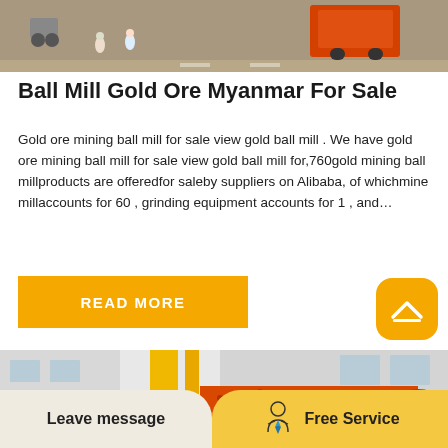[Figure (photo): Aerial/overhead view of a construction or mining site with vehicles and equipment, orange truck visible]
Ball Mill Gold Ore Myanmar For Sale
Gold ore mining ball mill for sale view gold ball mill . We have gold ore mining ball mill for sale view gold ball mill for,760gold mining ball millproducts are offeredfor saleby suppliers on Alibaba, of whichmine millaccounts for 60 , grinding equipment accounts for 1 , and…
[Figure (other): Orange/yellow READ MORE button]
[Figure (other): Scroll-to-top button, orange rounded square with upward chevron]
[Figure (photo): Close-up photo of large orange cylindrical ball mill equipment with yellow crane structure in background]
[Figure (other): Bottom bar with Leave message button (beige) and Free Service button (yellow) with customer service icon]